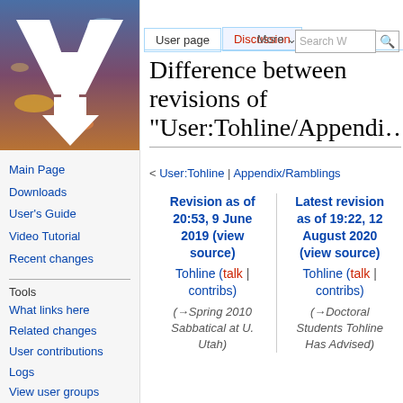[Figure (logo): ViXra-style wiki logo: blue/orange background with large white VT letters and downward arrow]
Main Page
Downloads
User's Guide
Video Tutorial
Recent changes
Tools
What links here
Related changes
User contributions
Logs
View user groups
Special pages
Printable version
Log in
Difference between revisions of "User:Tohline/Appendi
< User:Tohline | Appendix/Ramblings
| Revision as of 20:53, 9 June 2019 (view source) | Latest revision as of 19:22, 12 August 2020 (view source) |
| --- | --- |
| Tohline (talk | contribs) | Tohline (talk | contribs) |
| (→Spring 2010 Sabbatical at U. Utah) | (→Doctoral Students Tohline Has Advised) |